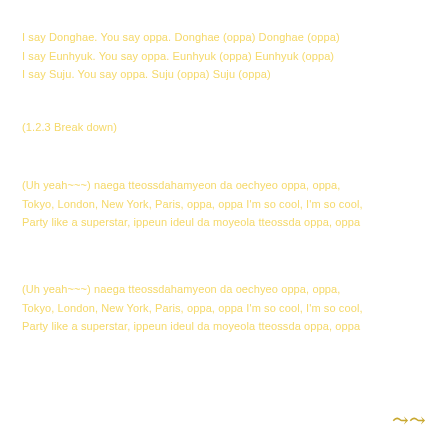I say Donghae. You say oppa. Donghae (oppa) Donghae (oppa)
I say Eunhyuk. You say oppa. Eunhyuk (oppa) Eunhyuk (oppa)
I say Suju. You say oppa. Suju (oppa) Suju (oppa)
(1.2.3 Break down)
(Uh yeah~~~) naega tteossdahamyeon da oechyeo oppa, oppa,
Tokyo, London, New York, Paris, oppa, oppa I'm so cool, I'm so cool,
Party like a superstar, ippeun ideul da moyeola tteossda oppa, oppa
(Uh yeah~~~) naega tteossdahamyeon da oechyeo oppa, oppa,
Tokyo, London, New York, Paris, oppa, oppa I'm so cool, I'm so cool,
Party like a superstar, ippeun ideul da moyeola tteossda oppa, oppa